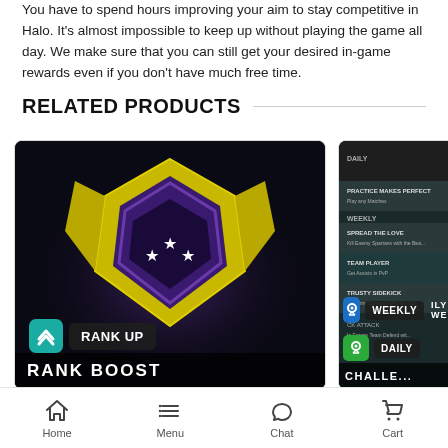You have to spend hours improving your aim to stay competitive in Halo. It's almost impossible to keep up without playing the game all day. We make sure that you can still get your desired in-game rewards even if you don't have much free time.
RELATED PRODUCTS
[Figure (screenshot): Product card showing Halo Rank Boost with a purple and gold shield emblem on dark background, with RANK UP badge and RANK BOOST label]
[Figure (screenshot): Product card showing Halo challenges screen with WEEKLY and DAILY badges]
$10 - $91
CONFIGURE BOOST
Home  Menu  Chat  Cart